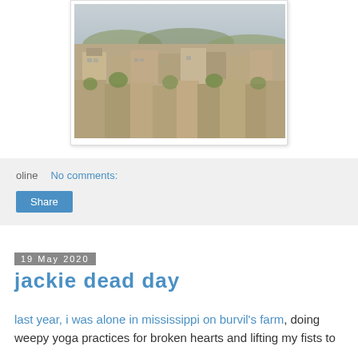[Figure (photo): Aerial/elevated view of a dense urban neighborhood with stone and brick buildings, rooftops, and trees, with a hazy sky in the background. The image has a vintage/filtered tone.]
oline   No comments:
Share
19 May 2020
jackie dead day
last year, i was alone in mississippi on burvil's farm, doing weepy yoga practices for broken hearts and lifting my fists to